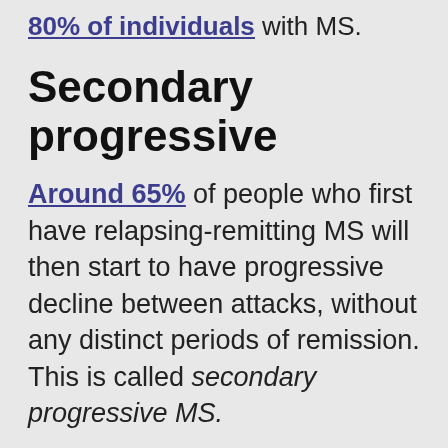80% of individuals with MS.
Secondary progressive
Around 65% of people who first have relapsing-remitting MS will then start to have progressive decline between attacks, without any distinct periods of remission. This is called secondary progressive MS.